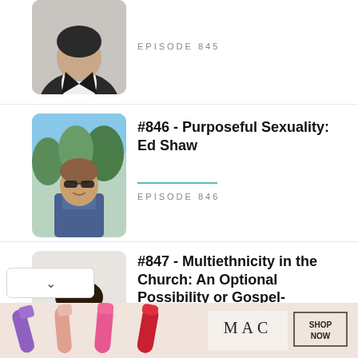[Figure (photo): Partial photo of a man in a black suit and white shirt at top of page (episode 845 entry, cropped)]
EPISODE 845
[Figure (photo): Photo of a man with sunglasses outdoors with trees in background (Episode 846)]
#846 - Purposeful Sexuality: Ed Shaw
EPISODE 846
[Figure (photo): Photo of a Black man in a black t-shirt smiling (Episode 847, Dr. Derwin Gray)]
#847 - Multiethnicity in the Church: An Optional Possibility or Gospel-Necessity? Dr. Derwin Gray
EPISODE 847
[Figure (photo): MAC cosmetics advertisement banner with lipsticks and SHOP NOW button]